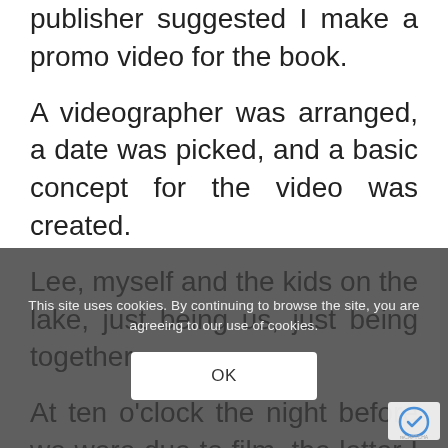publisher suggested I make a promo video for the book. A videographer was arranged, a date was picked, and a basic concept for the video was created. Lee, myself and the kids on the lake, just being us, just being together. At ten o'clock the night before we were due to film, the letter I read to my daughter in the video came pouring through, and I knew it was meant to be a part of th
This site uses cookies. By continuing to browse the site, you are agreeing to our use of cookies.